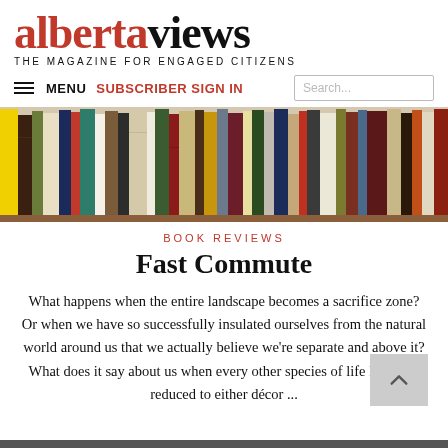albertaviews — THE MAGAZINE FOR ENGAGED CITIZENS
[Figure (photo): A row of colorful books on a bookshelf, seen spine-on, tightly packed, variety of colors including yellow, green, red, blue, brown, white, and dark tones.]
BOOK REVIEWS
Fast Commute
What happens when the entire landscape becomes a sacrifice zone? Or when we have so successfully insulated ourselves from the natural world around us that we actually believe we’re separate and above it? What does it say about us when every other species of life has been reduced to either décor ...